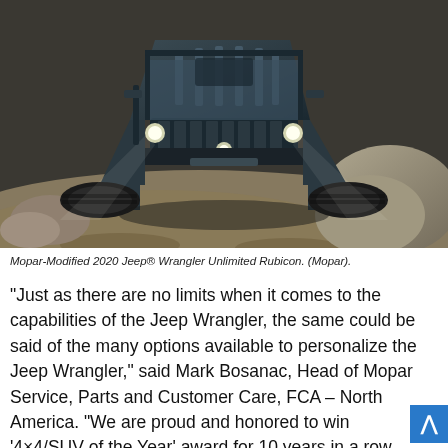[Figure (photo): Mopar-Modified 2020 Jeep Wrangler Unlimited Rubicon photographed from front-above angle on a rocky off-road trail, dark blue color with exposed engine hood vents and large off-road tires]
Mopar-Modified 2020 Jeep® Wrangler Unlimited Rubicon. (Mopar).
“Just as there are no limits when it comes to the capabilities of the Jeep Wrangler, the same could be said of the many options available to personalize the Jeep Wrangler,” said Mark Bosanac, Head of Mopar Service, Parts and Customer Care, FCA – North America. “We are proud and honored to win ‘4×4/SUV of the Year’ award for 10 years in a row, which is a testament not only to the